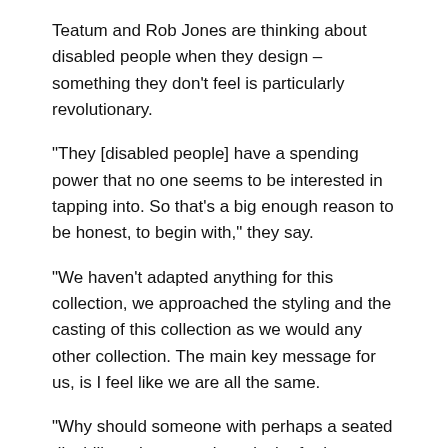Teatum and Rob Jones are thinking about disabled people when they design – something they don't feel is particularly revolutionary.
“They [disabled people] have a spending power that no one seems to be interested in tapping into. So that’s a big enough reason to be honest, to begin with,” they say.
“We haven’t adapted anything for this collection, we approached the styling and the casting of this collection as we would any other collection. The main key message for us, is I feel like we are all the same.
“Why should someone with perhaps a seated disability… have any less desire for luxury fashion?”